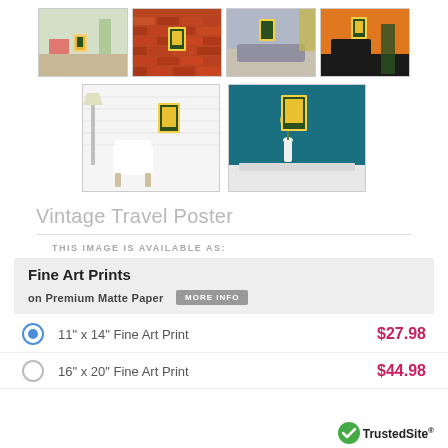[Figure (photo): Top row of 4 room scene thumbnails showing a vintage travel poster art on different walls: white room with plants, brick wall, gray/teal sofa room, orange wall with couch]
[Figure (photo): Second row of 2 larger room scene thumbnails: white minimalist room with chair, teal wall with white table and vase]
Vintage Travel Poster
THIS IMAGE IS AVAILABLE AS:
Fine Art Prints on Premium Matte Paper MORE INFO
11" x 14" Fine Art Print $27.98
16" x 20" Fine Art Print $44.98